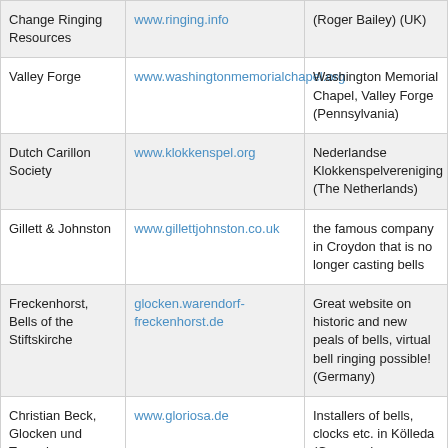| Name | URL | Description |
| --- | --- | --- |
| Change Ringing Resources | www.ringing.info | (Roger Bailey) (UK) |
| Valley Forge | www.washingtonmemorialchapel.org | Washington Memorial Chapel, Valley Forge (Pennsylvania) |
| Dutch Carillon Society | www.klokkenspel.org | Nederlandse Klokkenspelvereniging (The Netherlands) |
| Gillett & Johnston | www.gillettjohnston.co.uk | the famous company in Croydon that is no longer casting bells |
| Freckenhorst, Bells of the Stiftskirche | glocken.warendorf-freckenhorst.de | Great website on historic and new peals of bells, virtual bell ringing possible! (Germany) |
| Christian Beck, Glocken und Turmuhren | www.gloriosa.de | Installers of bells, clocks etc. in Kölleda (Germany) |
| Gentse Beiaardkring "Clocke | www.beiaardgent.be | carillon society in the Flemish city of Gent (Belgium) |